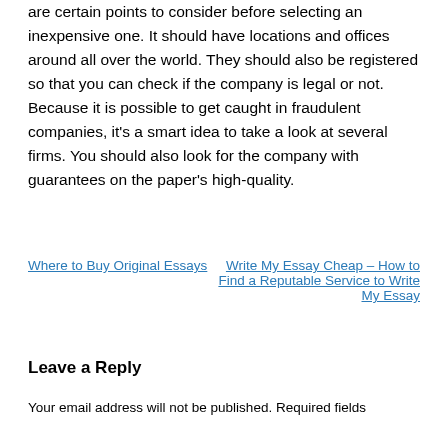are certain points to consider before selecting an inexpensive one. It should have locations and offices around all over the world. They should also be registered so that you can check if the company is legal or not. Because it is possible to get caught in fraudulent companies, it's a smart idea to take a look at several firms. You should also look for the company with guarantees on the paper's high-quality.
Where to Buy Original Essays | Write My Essay Cheap – How to Find a Reputable Service to Write My Essay
Leave a Reply
Your email address will not be published. Required fields